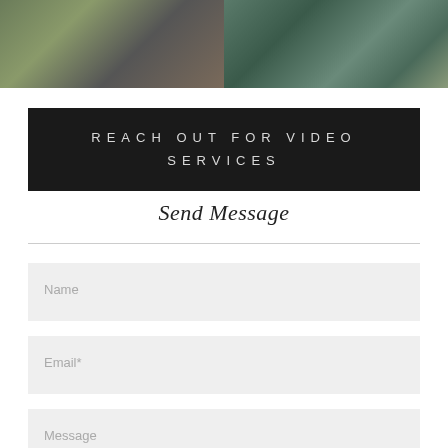[Figure (photo): Two photos side by side: left shows a person rock climbing, right shows colorful birds (bee-eaters)]
REACH OUT FOR VIDEO SERVICES
Send Message
Name
Email*
Message